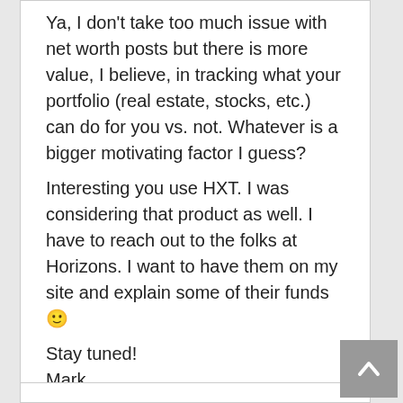Ya, I don't take too much issue with net worth posts but there is more value, I believe, in tracking what your portfolio (real estate, stocks, etc.) can do for you vs. not. Whatever is a bigger motivating factor I guess?

Interesting you use HXT. I was considering that product as well. I have to reach out to the folks at Horizons. I want to have them on my site and explain some of their funds 🙂

Stay tuned!
Mark